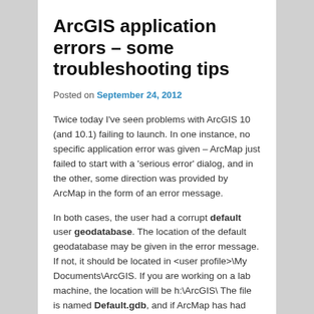ArcGIS application errors – some troubleshooting tips
Posted on September 24, 2012
Twice today I've seen problems with ArcGIS 10 (and 10.1) failing to launch. In one instance, no specific application error was given – ArcMap just failed to start with a 'serious error' dialog, and in the other, some direction was provided by ArcMap in the form of an error message.
In both cases, the user had a corrupt default user geodatabase. The location of the default geodatabase may be given in the error message. If not, it should be located in <user profile>\My Documents\ArcGIS. If you are working on a lab machine, the location will be h:\ArcGIS\ The file is named Default.gdb, and if ArcMap has had trouble loading more than once, you may have multiple copies